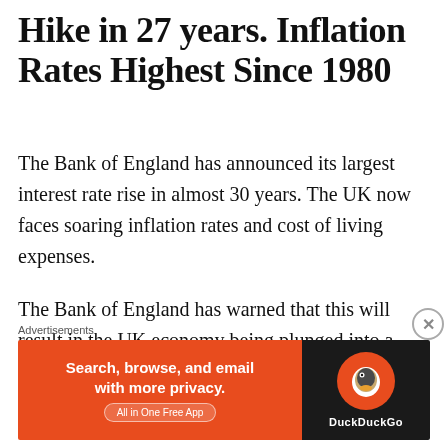Hike in 27 years. Inflation Rates Highest Since 1980
The Bank of England has announced its largest interest rate rise in almost 30 years. The UK now faces soaring inflation rates and cost of living expenses.
The Bank of England has warned that this will result in the UK economy being plunged into a recession for more than a
[Figure (other): DuckDuckGo advertisement banner: orange left panel with text 'Search, browse, and email with more privacy. All in One Free App' and dark right panel with DuckDuckGo logo and name.]